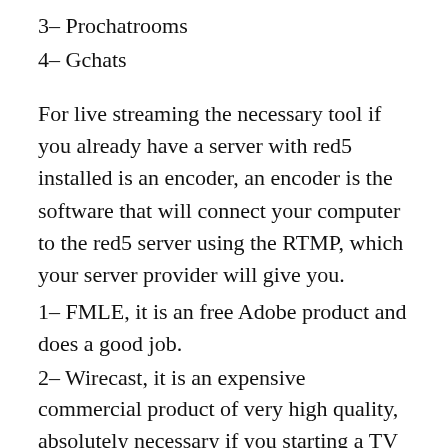3– Prochatrooms
4– Gchats
For live streaming the necessary tool if you already have a server with red5 installed is an encoder, an encoder is the software that will connect your computer to the red5 server using the RTMP, which your server provider will give you.
1– FMLE, it is an free Adobe product and does a good job.
2– Wirecast, it is an expensive commercial product of very high quality, absolutely necessary if you starting a TV station.